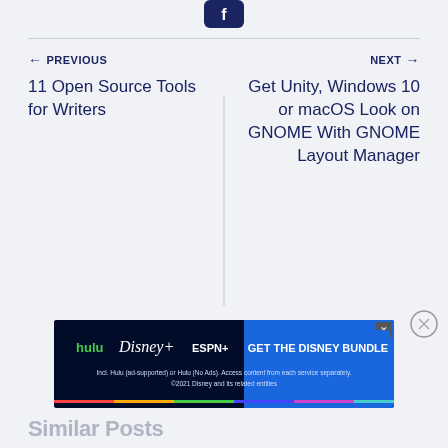[Figure (logo): Circular icon with globe/Facebook-like logo at top]
← PREVIOUS
11 Open Source Tools for Writers
NEXT →
Get Unity, Windows 10 or macOS Look on GNOME With GNOME Layout Manager
[Figure (screenshot): Hulu Disney+ ESPN+ GET THE DISNEY BUNDLE advertisement banner. Incl. Hulu (ad-supported) or Hulu (No Ads). Access content from each service separately. ©2021 Disney and its related entities]
Similar Posts